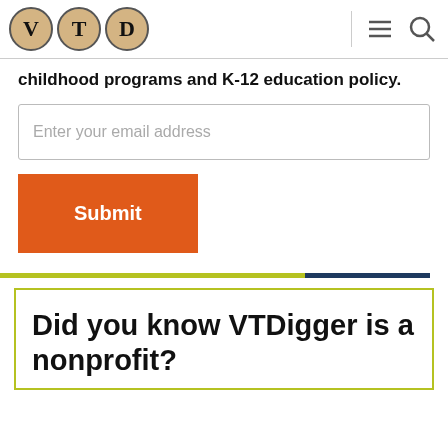VTD
childhood programs and K-12 education policy.
Enter your email address
Submit
Did you know VTDigger is a nonprofit?